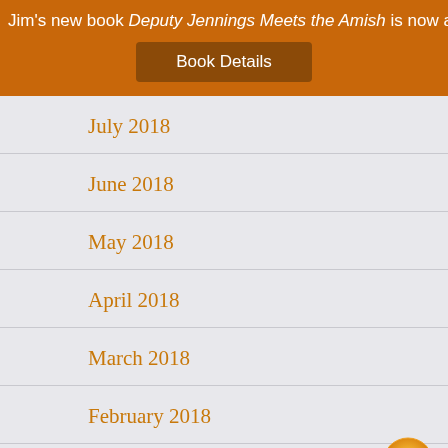Jim's new book Deputy Jennings Meets the Amish is now available!
Book Details
July 2018
June 2018
May 2018
April 2018
March 2018
February 2018
January 2018
December 2017